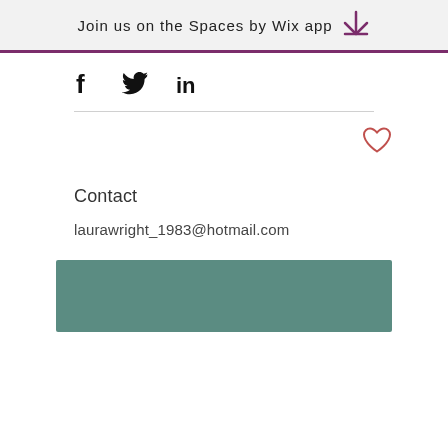Join us on the Spaces by Wix app
[Figure (infographic): Social media share icons: Facebook (f), Twitter bird, LinkedIn (in)]
[Figure (infographic): Heart/like icon outline in red/coral]
Contact
laurawright_1983@hotmail.com
[Figure (other): Teal/green-grey rectangular bar, decorative footer element]